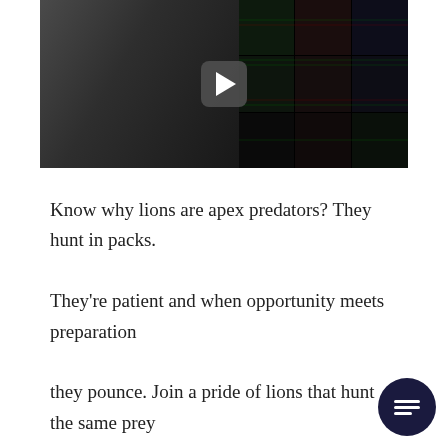[Figure (screenshot): Video thumbnail showing a man speaking in front of multiple stock trading screens filled with charts and data. A play button is overlaid in the center.]
Know why lions are apex predators? They hunt in packs. They're patient and when opportunity meets preparation they pounce. Join a pride of lions that hunt the same prey day-in and day-out. Our strategy identifies stocks that move at unsustainable rates. This works because our strategy is grounded in something that will never cha...